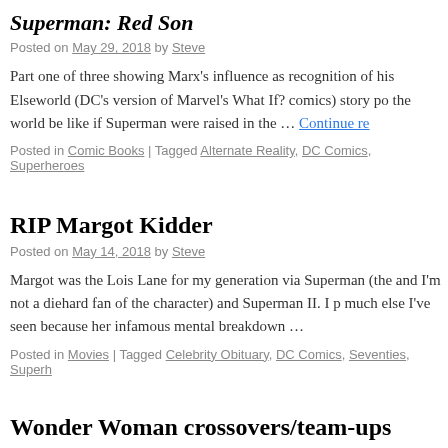Superman: Red Son
Posted on May 29, 2018 by Steve
Part one of three showing Marx's influence as recognition of his Elseworld (DC's version of Marvel's What If? comics) story po the world be like if Superman were raised in the … Continue re
Posted in Comic Books | Tagged Alternate Reality, DC Comics, Superheroes
RIP Margot Kidder
Posted on May 14, 2018 by Steve
Margot was the Lois Lane for my generation via Superman (the and I'm not a diehard fan of the character) and Superman II. I p much else I've seen because her infamous mental breakdown …
Posted in Movies | Tagged Celebrity Obituary, DC Comics, Seventies, Superh
Wonder Woman crossovers/team-ups